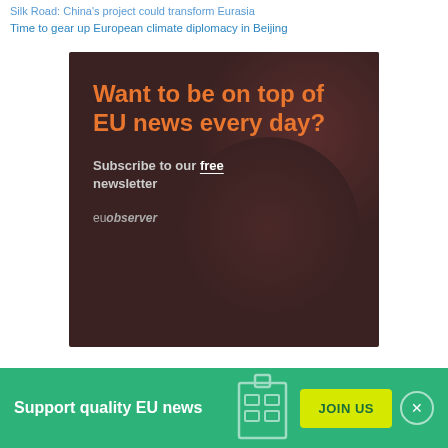Silk Road: China's project could transform Eurasia
Time to gear up European climate diplomacy in Beijing
[Figure (illustration): EUobserver newsletter advertisement banner with dark brown background, orange headline text reading 'Want to be on top of EU news every day?', subtitle 'Subscribe to our free newsletter', and 'euobserver' branding at bottom]
Support quality EU news
JOIN US